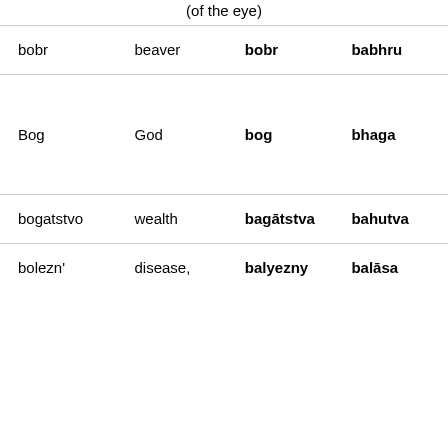| Russian | English | Proto-Slavic | Sanskrit |
| --- | --- | --- | --- |
| bobr | beaver | bobr | babhru |
| Bog | God | bog | bhaga |
| bogatstvo | wealth | bagātstva | bahutva |
| bolezn' | disease, | balyezny | balāsa |